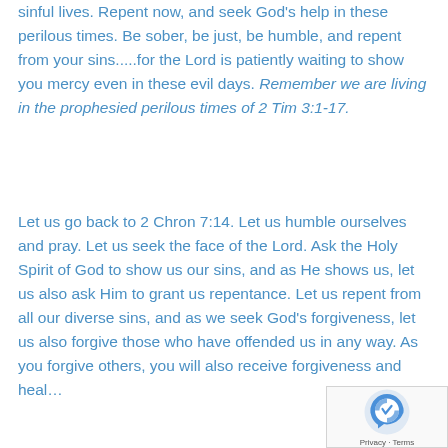sinful lives. Repent now, and seek God's help in these perilous times. Be sober, be just, be humble, and repent from your sins.....for the Lord is patiently waiting to show you mercy even in these evil days. Remember we are living in the prophesied perilous times of 2 Tim 3:1-17.
Let us go back to 2 Chron 7:14. Let us humble ourselves and pray. Let us seek the face of the Lord. Ask the Holy Spirit of God to show us our sins, and as He shows us, let us also ask Him to grant us repentance. Let us repent from all our diverse sins, and as we seek God's forgiveness, let us also forgive those who have offended us in any way. As you forgive others, you will also receive forgiveness and healing.
[Figure (other): reCAPTCHA widget overlay in bottom-right corner showing the reCAPTCHA logo and 'Privacy - Terms' text]